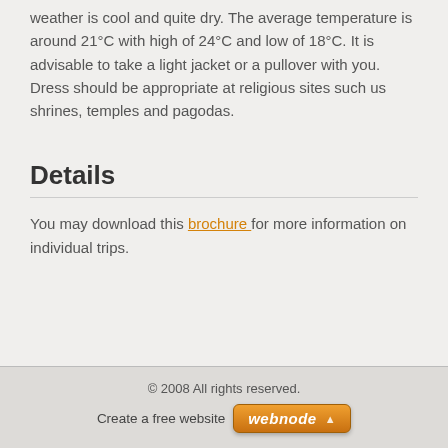weather is cool and quite dry. The average temperature is around 21°C with high of 24°C and low of 18°C. It is advisable to take a light jacket or a pullover with you. Dress should be appropriate at religious sites such us shrines, temples and pagodas.
Details
You may download this brochure for more information on individual trips.
© 2008 All rights reserved.
Create a free website  webnode ▲